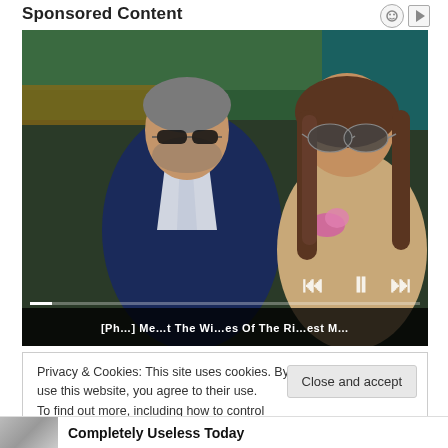Sponsored Content
[Figure (photo): Two people sitting in stadium seats. On the left, an older man in a navy suit with a white tie and sunglasses. On the right, a young woman with long brown hair wearing sunglasses and a lace top with a pink flower. Background shows green stadium seating. Media player controls visible at bottom. Caption bar with text '[Ph...] Me...t The Wi...es Of The Ri...est M...']
Privacy & Cookies: This site uses cookies. By continuing to use this website, you agree to their use.
To find out more, including how to control Cookie Policy
Close and accept
Completely Useless Today